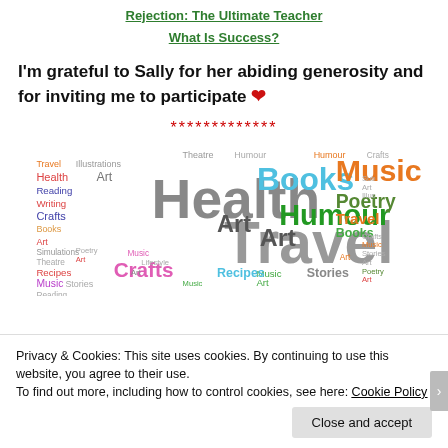Rejection: The Ultimate Teacher
What Is Success?
I'm grateful to Sally for her abiding generosity and for inviting me to participate ❤
*************
[Figure (infographic): Word cloud featuring terms like Health, Travel, Books, Art, Humour, Music, Poetry, Crafts, Recipes, Stories, Writing, Theatre, Illustrations, and others in various colors and sizes.]
Privacy & Cookies: This site uses cookies. By continuing to use this website, you agree to their use.
To find out more, including how to control cookies, see here: Cookie Policy
Close and accept